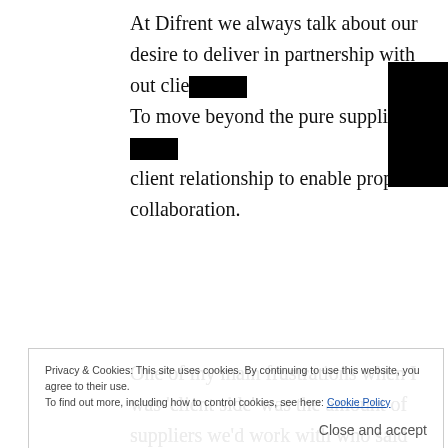At Difrent we always talk about our desire to deliver in partnership with out clie[redacted]. To move beyond the pure supplier a[redacted] client relationship to enable proper collaboration.
One of my main frustrations when I was 'client side' was the amount of suppliers we'd work with who said they would partner with us, but then when the contract started, after the first few weeks had passed and the new relationship glow had faded, the teams and the account managers reverted to type. I can't recall how many times I had to have conversations at the supplier governance meetings where I was practically begging
Privacy & Cookies: This site uses cookies. By continuing to use this website, you agree to their use. To find out more, including how to control cookies, see here: Cookie Policy